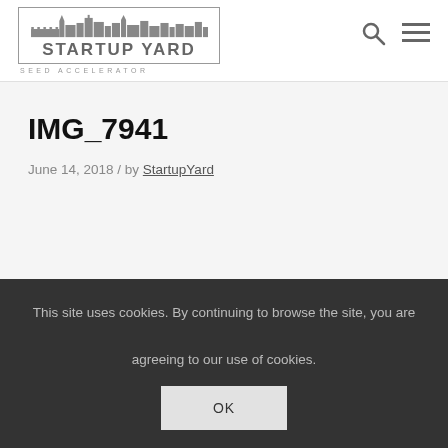[Figure (logo): StartupYard Seed Accelerator logo with city skyline silhouette inside a rectangular border]
IMG_7941
June 14, 2018 / by StartupYard
This site uses cookies. By continuing to browse the site, you are agreeing to our use of cookies.